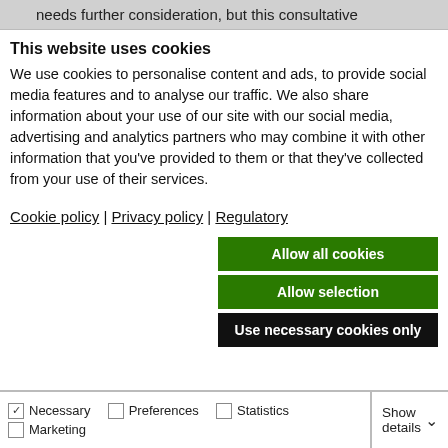needs further consideration, but this consultative
This website uses cookies
We use cookies to personalise content and ads, to provide social media features and to analyse our traffic. We also share information about your use of our site with our social media, advertising and analytics partners who may combine it with other information that you've provided to them or that they've collected from your use of their services.
Cookie policy | Privacy policy | Regulatory
Allow all cookies
Allow selection
Use necessary cookies only
Necessary  Preferences  Statistics  Marketing  Show details